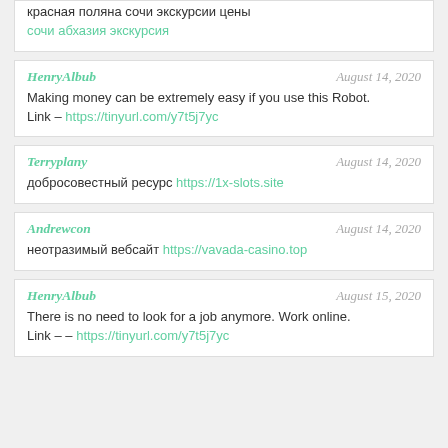красная поляна сочи экскурсии цены
сочи абхазия экскурсия
HenryAlbub — August 14, 2020
Making money can be extremely easy if you use this Robot.
Link – https://tinyurl.com/y7t5j7yc
Terryplany — August 14, 2020
добросовестный ресурс https://1x-slots.site
Andrewcon — August 14, 2020
неотразимый вебсайт https://vavada-casino.top
HenryAlbub — August 15, 2020
There is no need to look for a job anymore. Work online.
Link – – https://tinyurl.com/y7t5j7yc